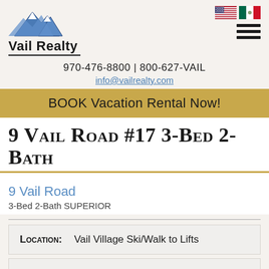[Figure (logo): Vail Realty logo with mountain graphic and company name]
970-476-8800  |  800-627-VAIL
info@vailrealty.com
BOOK Vacation Rental Now!
9 Vail Road #17 3-Bed 2-Bath
9 Vail Road
3-Bed 2-Bath SUPERIOR
| Location: | Vail Village Ski/Walk to Lifts |